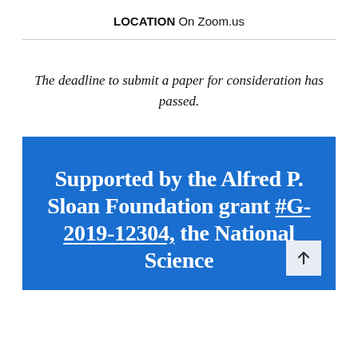LOCATION On Zoom.us
The deadline to submit a paper for consideration has passed.
Supported by the Alfred P. Sloan Foundation grant #G-2019-12304, the National Science